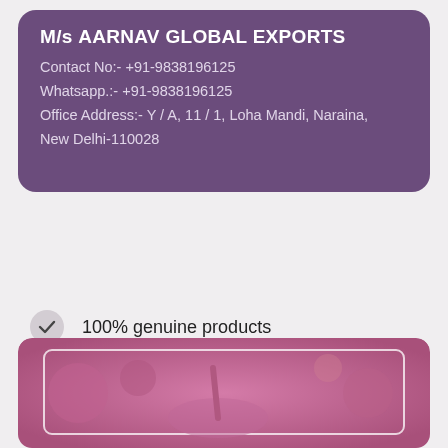M/s AARNAV GLOBAL EXPORTS
Contact No:- +91-9838196125
Whatsapp.:- +91-9838196125
Office Address:- Y / A, 11 / 1, Loha Mandi, Naraina, New Delhi-110028
100% genuine products
15 days easy return policy
Qualified for free delivery
[Figure (photo): Pink-toned cosmetics product display image with makeup items, nail polish, and beauty accessories on a pink background, with a white rectangular border overlay]